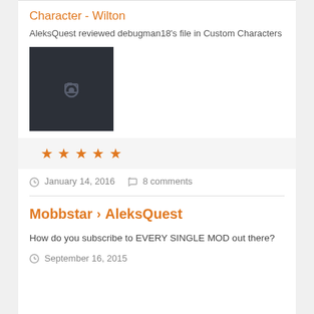Character - Wilton
AleksQuest reviewed debugman18's file in Custom Characters
[Figure (photo): Dark placeholder thumbnail with a camera icon in the center]
★★★★★ (5 star rating)
January 14, 2016   8 comments
Mobbstar › AleksQuest
How do you subscribe to EVERY SINGLE MOD out there?
September 16, 2015